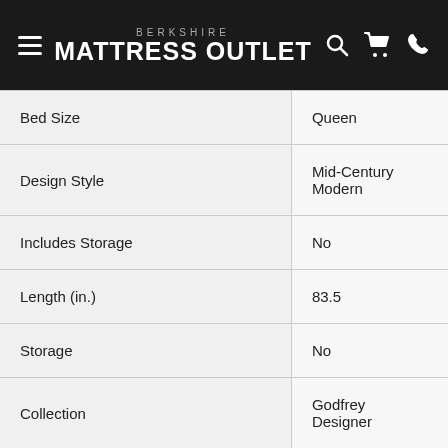BERKSHIRE MATTRESS OUTLET
| Attribute | Value |
| --- | --- |
| Bed Size | Queen |
| Design Style | Mid-Century Modern |
| Includes Storage | No |
| Length (in.) | 83.5 |
| Storage | No |
| Collection | Godfrey Designer |
| Age Group | Adult |